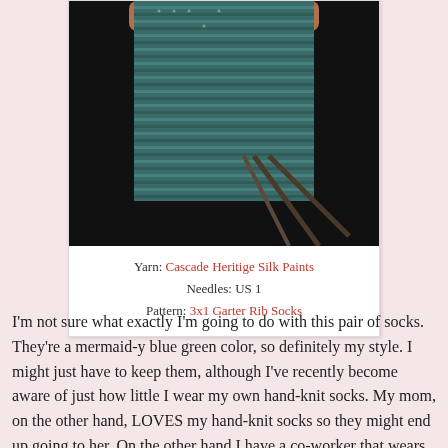[Figure (photo): A knitted sock in progress in blue-green color with knitting needles, photographed close up against a dark background.]
Yarn: Cascade Heritige Silk Paints
Needles: US 1
Pattern: 3x1 Garter Rib Socks
I'm not sure what exactly I'm going to do with this pair of socks. They're a mermaid-y blue green color, so definitely my style. I might just have to keep them, although I've recently become aware of just how little I wear my own hand-knit socks. My mom, on the other hand, LOVES my hand-knit socks so they might end up going to her. On the other hand I have a co-worker that wears